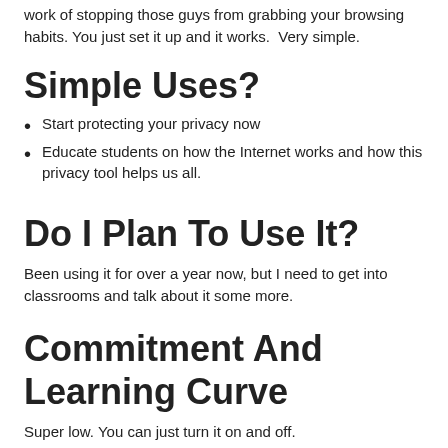work of stopping those guys from grabbing your browsing habits. You just set it up and it works. Very simple.
Simple Uses?
Start protecting your privacy now
Educate students on how the Internet works and how this privacy tool helps us all.
Do I Plan To Use It?
Been using it for over a year now, but I need to get into classrooms and talk about it some more.
Commitment And Learning Curve
Super low. You can just turn it on and off.